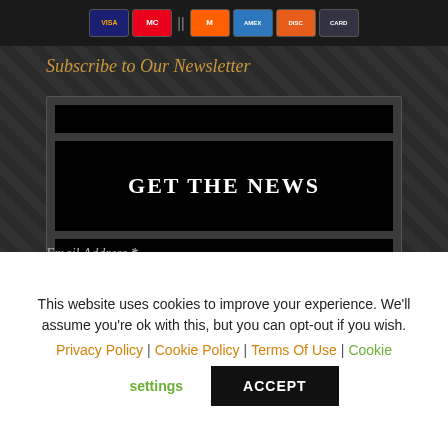[Figure (other): Payment method icons: Visa, Mastercard, Maestro, American Express, Discover, and another card]
Subscribe to Our Newsletter
[Figure (screenshot): Newsletter signup form with black input fields and a GET THE NEWS button]
Email Address *
This website uses cookies to improve your experience. We'll assume you're ok with this, but you can opt-out if you wish.
Privacy Policy | Cookie Policy | Terms Of Use | Cookie settings
ACCEPT